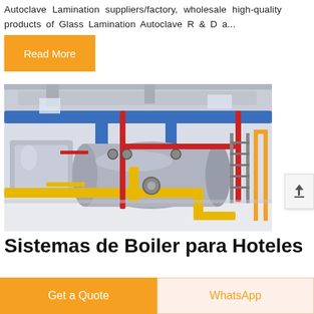Autoclave Lamination suppliers/factory, wholesale high-quality products of Glass Lamination Autoclave R & D a...
Read More
[Figure (photo): Industrial boiler system with blue, red, and yellow pipes in a factory/plant facility. Large cylindrical pressure vessels with pipe connections visible.]
Sistemas de Boiler para Hoteles
2015/5/14 · Sistemas de Boiler para Hoteles. Las calderas son
Get a Quote
WhatsApp